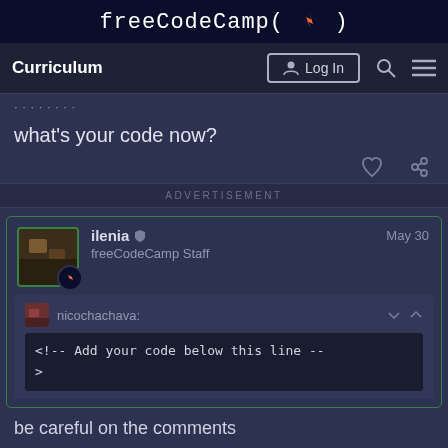freeCodeCamp(🔥)
Curriculum | Log In | Search | Menu
[truncated previous content]
what's your code now?
ADVERTISEMENT
ilenia 🛡 freeCodeCamp Staff   May 30
nicochachava:
<!-- Add your code below this line -->
>
be careful on the comments